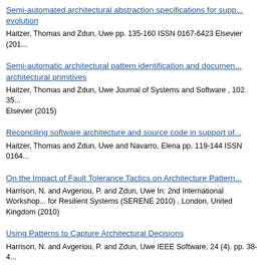Semi-automated architectural abstraction specifications for supporting evolution
Haitzer, Thomas and Zdun, Uwe pp. 135-160 ISSN 0167-6423 Elsevier (201...
Semi-automatic architectural pattern identification and documentation using architectural primitives
Haitzer, Thomas and Zdun, Uwe Journal of Systems and Software , 102. 35... Elsevier (2015)
Reconciling software architecture and source code in support of...
Haitzer, Thomas and Zdun, Uwe and Navarro, Elena pp. 119-144 ISSN 0164...
On the Impact of Fault Tolerance Tactics on Architecture Pattern...
Harrison, N. and Avgeriou, P. and Zdun, Uwe In: 2nd International Workshop... for Resilient Systems (SERENE 2010) , London, United Kingdom (2010)
Using Patterns to Capture Architectural Decisions
Harrison, N. and Avgeriou, P. and Zdun, Uwe IEEE Software, 24 (4). pp. 38-4...
Advanced Synchronisation Patterns for Process-Driven and Ser... Architectures